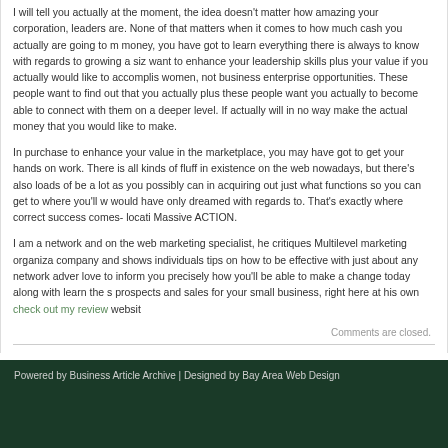I will tell you actually at the moment, the idea doesn’t matter how amazing your corporation, leaders are. None of that matters when it comes to how much cash you actually are going to m money, you have got to learn everything there is always to know with regards to growing a siz want to enhance your leadership skills plus your value if you actually would like to accomplis women, not business enterprise opportunities. These people want to find out that you actually plus these people want you actually to become able to connect with them on a deeper level. If actually will in no way make the actual money that you would like to make.
In purchase to enhance your value in the marketplace, you may have got to get your hands on work. There is all kinds of fluff in existence on the web nowadays, but there’s also loads of be a lot as you possibly can in acquiring out just what functions so you can get to where you’ll w would have only dreamed with regards to. That’s exactly where correct success comes- locati Massive ACTION.
I am a network and on the web marketing specialist, he critiques Multilevel marketing organiza company and shows individuals tips on how to be effective with just about any network adver love to inform you precisely how you’ll be able to make a change today along with learn the s prospects and sales for your small business, right here at his own check out my review websit
Comments are closed.
Powered by Business Article Archive | Designed by Bay Area Web Design